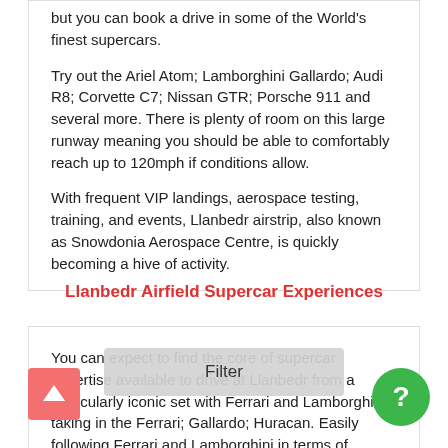but you can book a drive in some of the World's finest supercars.
Try out the Ariel Atom; Lamborghini Gallardo; Audi R8; Corvette C7; Nissan GTR; Porsche 911 and several more. There is plenty of room on this large runway meaning you should be able to comfortably reach up to 120mph if conditions allow.
With frequent VIP landings, aerospace testing, training, and events, Llanbedr airstrip, also known as Snowdonia Aerospace Centre, is quickly becoming a hive of activity.
Llanbedr Airfield Supercar Experiences
You can expect to find the core of supercar expertise available to drive at Llanbedr from a particularly iconic set with Ferrari and Lamborghini - taking in the Ferrari; Gallardo; Huracan. Easily following Ferrari and Lamborghini in terms of